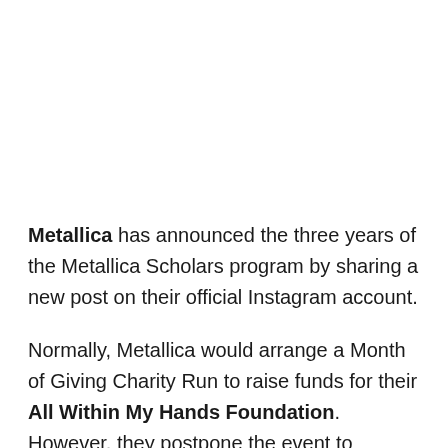Metallica has announced the three years of the Metallica Scholars program by sharing a new post on their official Instagram account.
Normally, Metallica would arrange a Month of Giving Charity Run to raise funds for their All Within My Hands Foundation. However, they postpone the event to announce another great news.